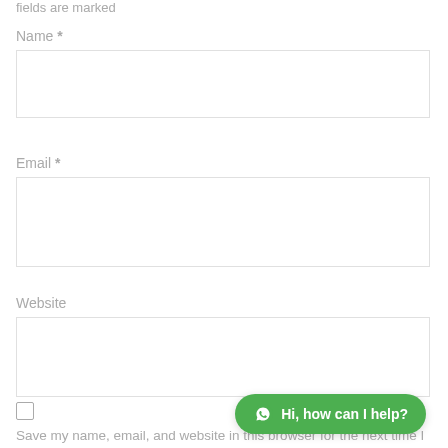fields are marked
Name *
Email *
Website
Save my name, email, and website in this browser for the next time I comment.
[Figure (screenshot): WhatsApp chat button overlay: green rounded button with WhatsApp icon and text 'Hi, how can I help?']